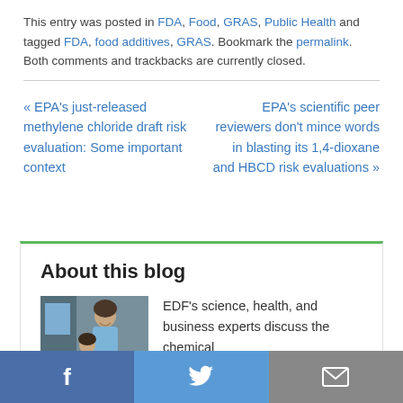This entry was posted in FDA, Food, GRAS, Public Health and tagged FDA, food additives, GRAS. Bookmark the permalink. Both comments and trackbacks are currently closed.
« EPA's just-released methylene chloride draft risk evaluation: Some important context
EPA's scientific peer reviewers don't mince words in blasting its 1,4-dioxane and HBCD risk evaluations »
About this blog
[Figure (photo): A woman and child looking at something together]
EDF's science, health, and business experts discuss the chemical
Facebook | Twitter | Email share buttons